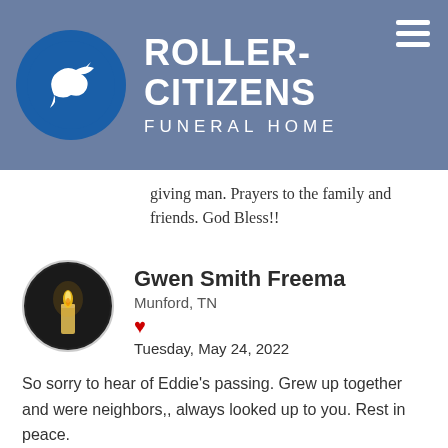Roller-Citizens Funeral Home
giving man. Prayers to the family and friends. God Bless!!
Gwen Smith Freema
Munford, TN
Tuesday, May 24, 2022
So sorry to hear of Eddie's passing. Grew up together and were neighbors,, always looked up to you. Rest in peace.